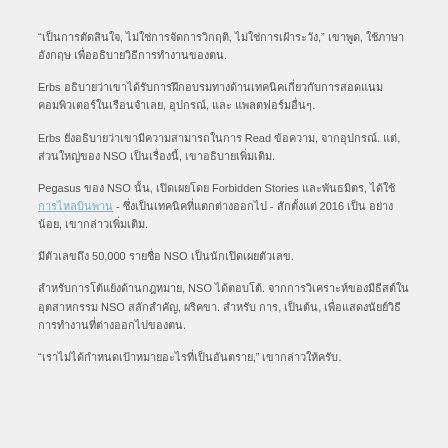“เป็นการตัดสินใจ, ไม่ใช่การจัดการวิกฤติ, ไม่ใช่การเฝ้าระวัง,” เขาพูด, ใช้ภาษาอังกฤษ เพื่ออธิบายวิธีการทำงานของตน.
Erbs อธิบายว่าเขาได้รับการฝึกอบรมทางด้านเทคนิคเกี่ยวกับการสอดแนมคอมพิวเตอร์ในเรือนจำเลย, อุปกรณ์, และ แพลตฟอร์มอื่นๆ.
Erbs ยังอธิบายว่าเขามีความสามารถในการ Read ข้อความ, จากอุปกรณ์. แต่, ส่วนใหญ่ของ NSO เป็นเรื่องนี้, เขาอธิบายเพิ่มเติม.
Pegasus ของ NSO นั้น, เปิดเผยโดย Forbidden Stories และพันธมิตร, ได้ใช้การไหลบินพานข้องภาพ - ซึ่งเป็นเทคนิคที่แตกต่างออกไป - สักตั้งแต่ 2016 เป็น อย่างน้อย, เขากล่าวเพิ่มเติม.
มีตัวเลขถึง 50,000 รายชื่อ NSO เป็นนักเปิดเผยตัวเลข.
สำหรับการโต้แย้งด้านกฎหมาย, NSO ได้ตอบโต้. จากการวิเคราะห์ของมีธีสต์ในอุตสาหกรรม NSO สลักสำคัญ, ผริคขา. สำหรับ การ, เป็นต้น, เพื่อแสดงนัยย์วิธีการทำงานที่ต่างออกไปของตน.
“เราไม่ได้กำหนดเป้าหมายอะไรที่เป็นอันตราย,” เขากล่าวให้ครับ.